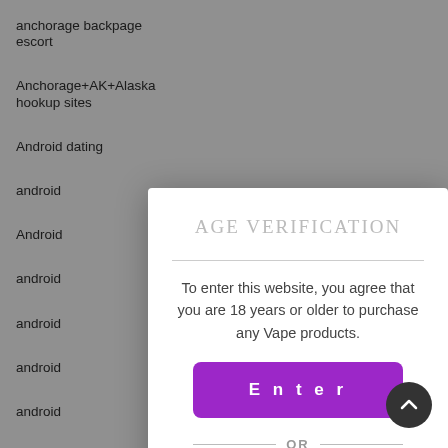anchorage backpage escort
Anchorage+AK+Alaska hookup sites
Android dating
android
Android
android
android
android
android
android
Android
android
android
AGE VERIFICATION
To enter this website, you agree that you are 18 years or older to purchase any Vape products.
Enter
OR
Exit